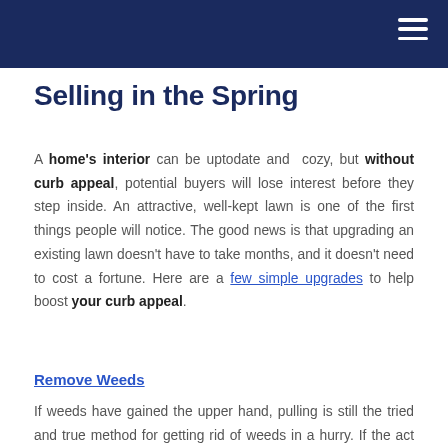Selling in the Spring
A home's interior can be uptodate and cozy, but without curb appeal, potential buyers will lose interest before they step inside. An attractive, well-kept lawn is one of the first things people will notice. The good news is that upgrading an existing lawn doesn’t have to take months, and it doesn’t need to cost a fortune. Here are a few simple upgrades to help boost your curb appeal.
Remove Weeds
If weeds have gained the upper hand, pulling is still the tried and true method for getting rid of weeds in a hurry. If the act of pulling the